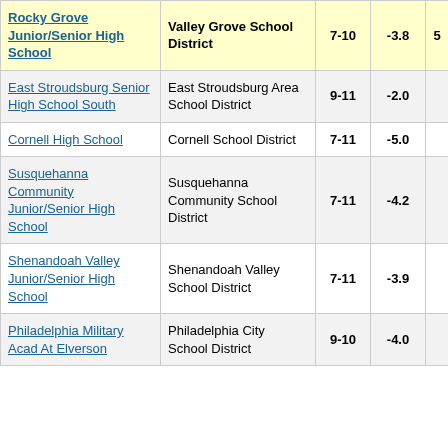| School | District | Grades | Col4 | Col5 |
| --- | --- | --- | --- | --- |
| Rocky Grove Junior/Senior High School | Valley Grove School District | 7-10 | -3.8 | 5 |
| East Stroudsburg Senior High School South | East Stroudsburg Area School District | 9-11 | -2.0 |  |
| Cornell High School | Cornell School District | 7-11 | -5.0 |  |
| Susquehanna Community Junior/Senior High School | Susquehanna Community School District | 7-11 | -4.2 |  |
| Shenandoah Valley Junior/Senior High School | Shenandoah Valley School District | 7-11 | -3.9 |  |
| Philadelphia Military Acad At Elverson | Philadelphia City School District | 9-10 | -4.0 |  |